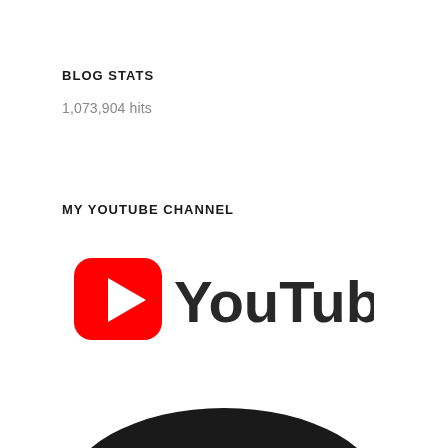BLOG STATS
1,073,904 hits
MY YOUTUBE CHANNEL
[Figure (logo): YouTube logo with red play button icon and 'YouTube' text in dark gray]
[Figure (photo): Partial black and white photo of what appears to be a curved dark object, possibly a microphone or camera lens, cropped at the bottom of the page]